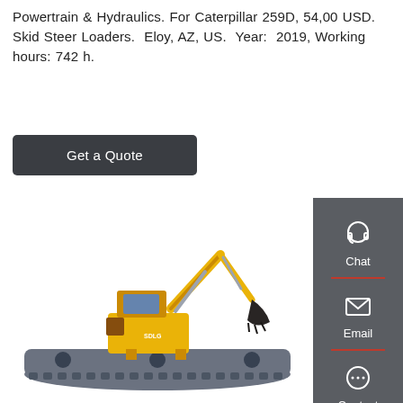Powertrain & Hydraulics. For Caterpillar 259D, 54,00 USD. Skid Steer Loaders. Eloy, AZ, US. Year: 2019, Working hours: 742 h.
Get a Quote
[Figure (photo): Yellow SDLG amphibious excavator on large pontoon/track undercarriage, shown on white background]
Chat
Email
Contact